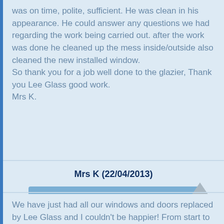was on time, polite, sufficient. He was clean in his appearance. He could answer any questions we had regarding the work being carried out. after the work was done he cleaned up the mess inside/outside also cleaned the new installed window.
So thank you for a job well done to the glazier, Thank you Lee Glass good work.
Mrs K.
Mrs K (22/04/2013)
View Full Testimonial
We have just had all our windows and doors replaced by Lee Glass and I couldn't be happier! From start to